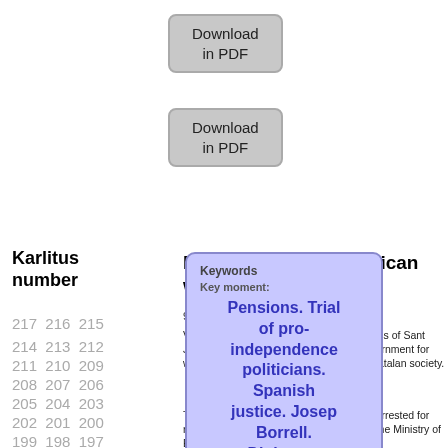[Figure (screenshot): Download in PDF button (top)]
[Figure (screenshot): Download in PDF button (second)]
Karlitus number
217 216 215
214 213 212
211 210 209
208 207 206
205 204 203
202 201 200
199 198 197
Political satiric republican weekly of Catalonia
9 april 2019
VIGNETTE 1. Text: Nominated for the Cross of Sant Jordi [Note: an award by the Catalan Government for worthy contributions to the well-being of Catalan society.
The example of the couple of pensioners arrested for robbing banks has been well received by the Ministry of Economy. It is a
[Figure (infographic): Keywords overlay popup with blue background showing: Keywords / Key moment: / Pensions. Trial of pro-independence politicians. Spanish justice. Josep Borrell. Diplomat.]